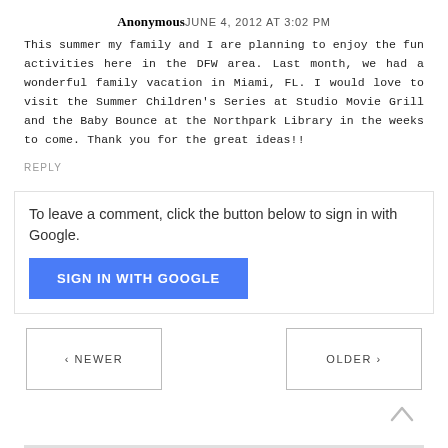Anonymous JUNE 4, 2012 AT 3:02 PM
This summer my family and I are planning to enjoy the fun activities here in the DFW area. Last month, we had a wonderful family vacation in Miami, FL. I would love to visit the Summer Children's Series at Studio Movie Grill and the Baby Bounce at the Northpark Library in the weeks to come. Thank you for the great ideas!!
REPLY
To leave a comment, click the button below to sign in with Google.
SIGN IN WITH GOOGLE
‹ NEWER
OLDER ›